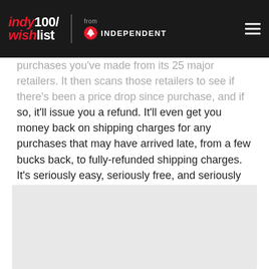indy100/wishlist from INDEPENDENT
purchases you've made from its 25 major retailers. It then scans those retailers to see if there's been a price drop since purchase, and if so, it'll issue you a refund. It'll even get you money back on shipping charges for any purchases that may have arrived late, from a few bucks back, to fully-refunded shipping charges. It's seriously easy, seriously free, and seriously awesome. Sign up here.
[Figure (other): Gray placeholder box at bottom of page]